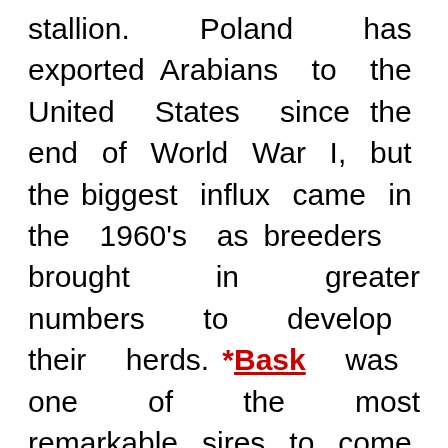stallion. Poland has exported Arabians to the United States since the end of World War I, but the biggest influx came in the 1960's as breeders brought in greater numbers to develop their herds. *Bask was one of the most remarkable sires to come to the United States from Poland, winning national championships in stallion halter and park and siring numerous